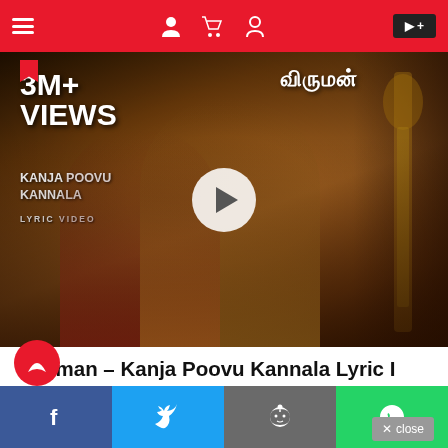Navigation header with hamburger menu and icons
[Figure (photo): Movie lyric video thumbnail showing '3M+ VIEWS' text, 'KANJA POOVU KANNALA LYRIC VIDEO' text, Tamil title text 'விருமன்', two actors (male in yellow shirt, female in red saree), play button circle, golden deity decoration on right side. Dark brownish background.]
Viruman – Kanja Poovu Kannala Lyric I Karthi, Aditi Shankar
by Ganesh Ayyadurai • 3 months ago
Social share bar: Facebook, Twitter, Reddit, WhatsApp